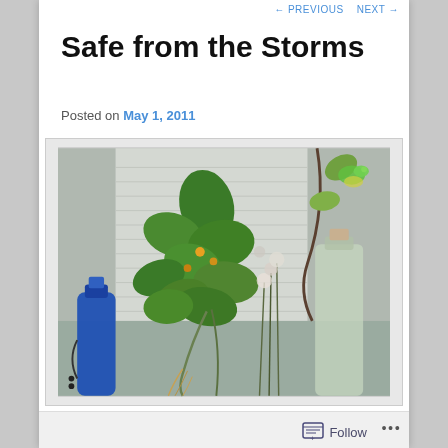← PREVIOUS   NEXT →
Safe from the Storms
Posted on May 1, 2011
[Figure (photo): Photo of green leafy plants in a window sill with a blue glass bottle on the left and a clear glass bottle on the right. White flowers visible in background.]
Follow  •••